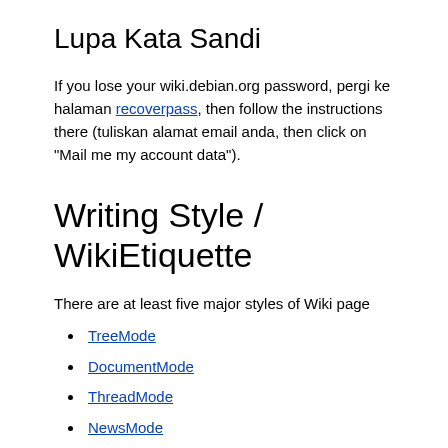Lupa Kata Sandi
If you lose your wiki.debian.org password, pergi ke halaman recoverpass, then follow the instructions there (tuliskan alamat email anda, then click on "Mail me my account data").
Writing Style / WikiEtiquette
There are at least five major styles of Wiki page
TreeMode
DocumentMode
ThreadMode
NewsMode
CategoryHomepage